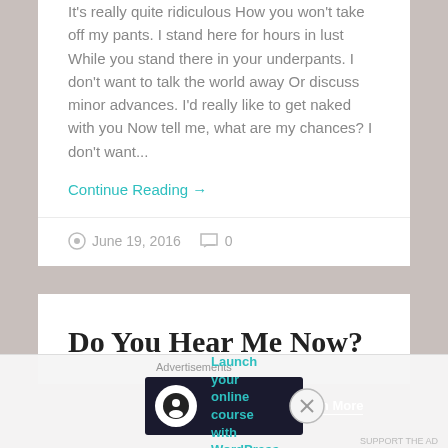It's really quite ridiculous How you won't take off my pants. I stand here for hours in lust While you stand there in your underpants. I don't want to talk the world away Or discuss minor advances. I'd really like to get naked with you Now tell me, what are my chances? I don't want...
Continue Reading →
June 19, 2016   0
Do You Hear Me Now?
Advertisements
[Figure (other): Advertisement banner: Launch your online course with WordPress. Learn More button. Dark navy background with teal text and white Learn More link.]